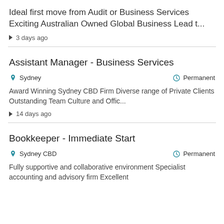Ideal first move from Audit or Business Services Exciting Australian Owned Global Business Lead t...
3 days ago
Assistant Manager - Business Services
Sydney   Permanent
Award Winning Sydney CBD Firm Diverse range of Private Clients Outstanding Team Culture and Offic...
14 days ago
Bookkeeper - Immediate Start
Sydney CBD   Permanent
Fully supportive and collaborative environment Specialist accounting and advisory firm Excellent